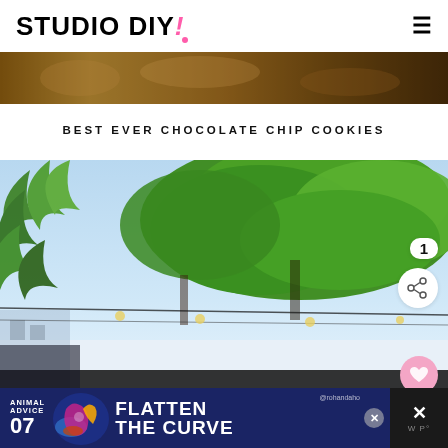STUDIO DIY!
[Figure (photo): Partial top banner photo showing baked goods/cookies in warm brown tones]
BEST EVER CHOCOLATE CHIP COOKIES
[Figure (photo): Outdoor photo looking up through lush green tree canopy with string lights hanging from wires against a bright sky]
[Figure (infographic): What's Next panel showing DIY Honeycomb... article thumbnail with colorful ornament image]
[Figure (infographic): Advertisement banner: Animal Advice 07 Flatten The Curve with colorful decorative image, username @rohandaho visible, with close button]